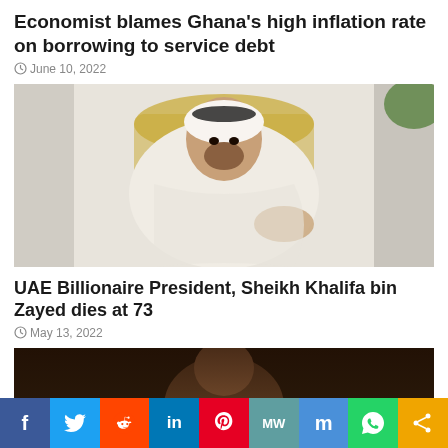Economist blames Ghana’s high inflation rate on borrowing to service debt
© June 10, 2022
[Figure (photo): Photo of an Arab leader wearing traditional white thobe and black agal, seated in an ornate gold chair, gesturing with one hand, with flags and plants in the background.]
UAE Billionaire President, Sheikh Khalifa bin Zayed dies at 73
© May 13, 2022
[Figure (photo): Partial photo of a person with a dark background, only the top of the head and upper face visible.]
f  🐦  🐨  in  🍐  MW  m  📱  «